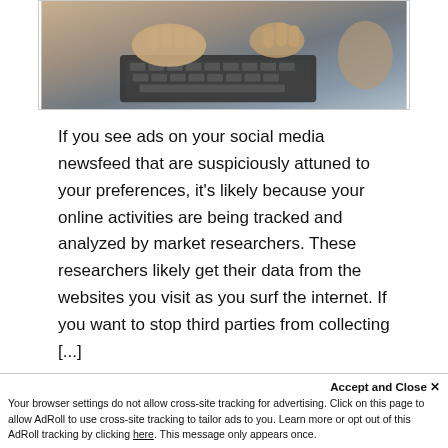[Figure (photo): Hands typing on a laptop keyboard, close-up photograph]
If you see ads on your social media newsfeed that are suspiciously attuned to your preferences, it's likely because your online activities are being tracked and analyzed by market researchers. These researchers likely get their data from the websites you visit as you surf the internet. If you want to stop third parties from collecting [...]
Read more
Accept and Close ✕
Your browser settings do not allow cross-site tracking for advertising. Click on this page to allow AdRoll to use cross-site tracking to tailor ads to you. Learn more or opt out of this AdRoll tracking by clicking here. This message only appears once.